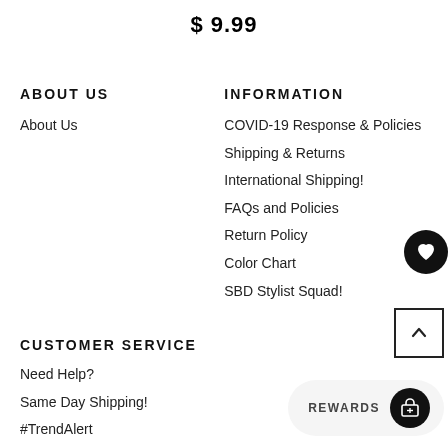$ 9.99
ABOUT US
About Us
INFORMATION
COVID-19 Response & Policies
Shipping & Returns
International Shipping!
FAQs and Policies
Return Policy
Color Chart
SBD Stylist Squad!
CUSTOMER SERVICE
Need Help?
Same Day Shipping!
#TrendAlert
Contests & Giveaways!